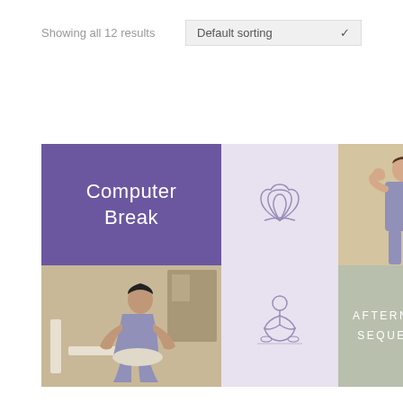Showing all 12 results
Default sorting
[Figure (illustration): A 2x3 grid card showing yoga/exercise content: top-left purple cell with 'Computer Break' text, top-middle lavender cell with lotus flower icon, top-right photo of woman doing hand stretch, bottom-left photo of man doing back stretch on chair, bottom-middle lavender cell with meditating figure icon, bottom-right sage green cell with 'AFTERNOON SEQUENCE' text.]